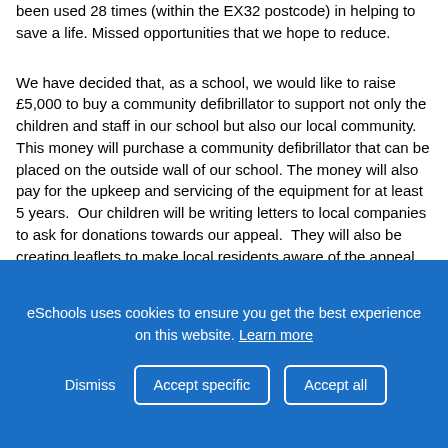been used 28 times (within the EX32 postcode) in helping to save a life. Missed opportunities that we hope to reduce.
We have decided that, as a school, we would like to raise £5,000 to buy a community defibrillator to support not only the children and staff in our school but also our local community. This money will purchase a community defibrillator that can be placed on the outside wall of our school. The money will also pay for the upkeep and servicing of the equipment for at least 5 years.  Our children will be writing letters to local companies to ask for donations towards our appeal.  They will also be creating leaflets to make local residents aware of the appeal and the resource that will be available to them in the future.
eSchools uses cookies to ensure you get the best experience on this website. Learn more
Dismiss | Accept specific | Accept all